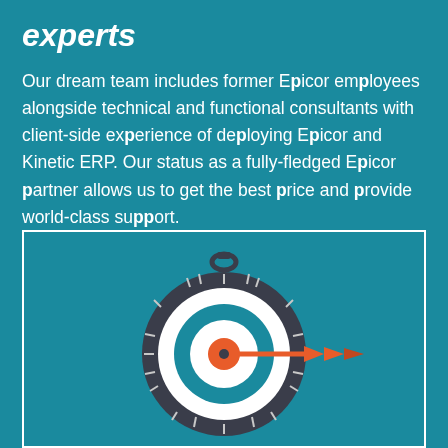experts
Our dream team includes former Epicor employees alongside technical and functional consultants with client-side experience of deploying Epicor and Kinetic ERP. Our status as a fully-fledged Epicor partner allows us to get the best price and provide world-class support.
[Figure (illustration): A stopwatch/clock icon combined with a target/bullseye. The clock has a dark circular case with tick marks around the edge, a white center bullseye target, and an orange arrow/dart hitting the center from the right side.]